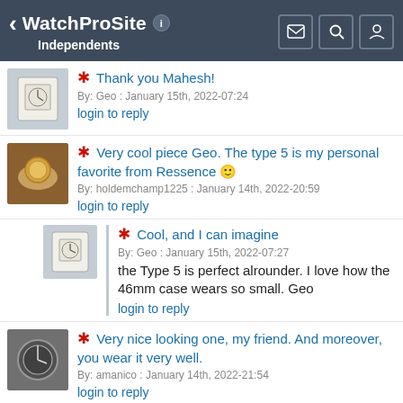WatchProSite — Independents
* Thank you Mahesh! By: Geo : January 15th, 2022-07:24 | login to reply
* Very cool piece Geo. The type 5 is my personal favorite from Ressence 🙂 By: holdemchamp1225 : January 14th, 2022-20:59 | login to reply
* Cool, and I can imagine By: Geo : January 15th, 2022-07:27 | the Type 5 is perfect alrounder. I love how the 46mm case wears so small. Geo | login to reply
* Very nice looking one, my friend. And moreover, you wear it very well. By: amanico : January 14th, 2022-21:54 | login to reply
* Thanks very much Nicolas.